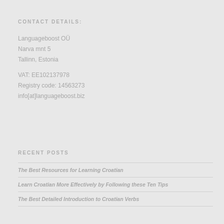CONTACT DETAILS:
Languageboost OÜ
Narva mnt 5
Tallinn, Estonia

VAT: EE102137978
Registry code: 14563273
info[at]languageboost.biz
RECENT POSTS
The Best Resources for Learning Croatian
Learn Croatian More Effectively by Following these Ten Tips
The Best Detailed Introduction to Croatian Verbs